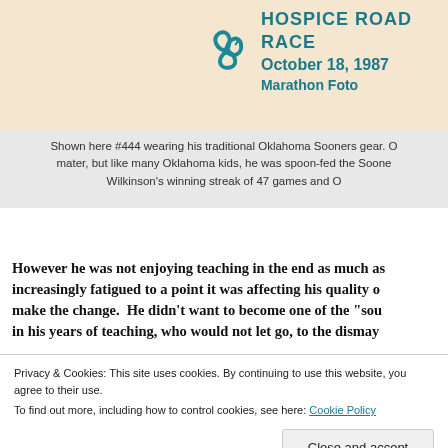[Figure (photo): Hospice Road Race event banner with teal swirl logo, text reading HOSPICE ROAD RACE, October 18, 1987, Marathon Foto on a peach/cream background]
Shown here #444 wearing his traditional Oklahoma Sooners gear. O... mater, but like many Oklahoma kids, he was spoon-fed the Soone... Wilkinson's winning streak of 47 games and O...
However he was not enjoying teaching in the end as much as... increasingly fatigued to a point it was affecting his quality o... make the change.  He didn't want to become one of the "sou... in his years of teaching, who would not let go, to the dismay...
The choice to retire early carried a penalty which meant he h... ir... be...
Privacy & Cookies: This site uses cookies. By continuing to use this website, you agree to their use. To find out more, including how to control cookies, see here: Cookie Policy